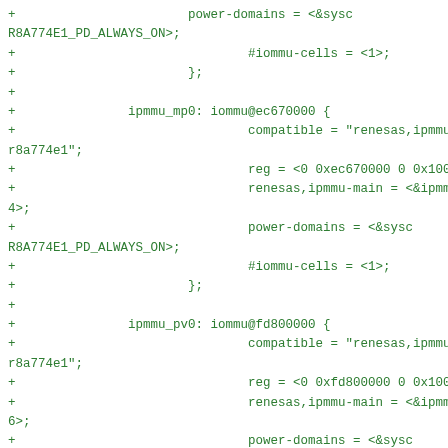+                               power-domains = <&sysc R8A774E1_PD_ALWAYS_ON>;
+                               #iommu-cells = <1>;
+                       };
+
+               ipmmu_mp0: iommu@ec670000 {
+                               compatible = "renesas,ipmmu-r8a774e1";
+                               reg = <0 0xec670000 0 0x1000>;
+                               renesas,ipmmu-main = <&ipmmu_mm 4>;
+                               power-domains = <&sysc R8A774E1_PD_ALWAYS_ON>;
+                               #iommu-cells = <1>;
+                       };
+
+               ipmmu_pv0: iommu@fd800000 {
+                               compatible = "renesas,ipmmu-r8a774e1";
+                               reg = <0 0xfd800000 0 0x1000>;
+                               renesas,ipmmu-main = <&ipmmu_mm 6>;
+                               power-domains = <&sysc R8A774E1_PD_ALWAYS_ON>;
+                               #iommu-cells = <1>;
+                       };
+
+               ipmmu_pv1: iommu@fd950000 {
+                               compatible = "renesas,ipmmu-r8a774e1";